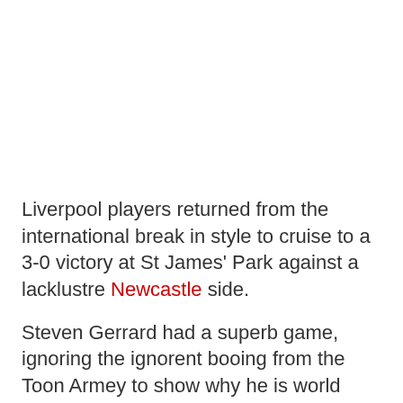Liverpool players returned from the international break in style to cruise to a 3-0 victory at St James' Park against a lacklustre Newcastle side.
Steven Gerrard had a superb game, ignoring the ignorent booing from the Toon Armey to show why he is world class despite recent criticism following his performances for England.